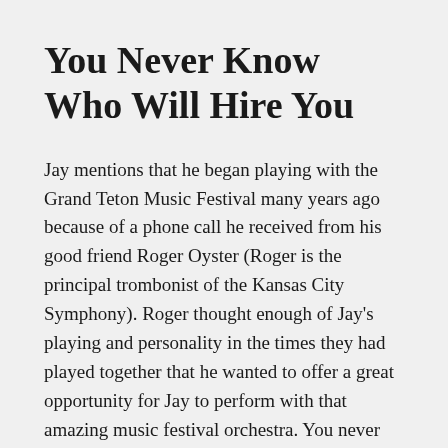You Never Know Who Will Hire You
Jay mentions that he began playing with the Grand Teton Music Festival many years ago because of a phone call he received from his good friend Roger Oyster (Roger is the principal trombonist of the Kansas City Symphony). Roger thought enough of Jay’s playing and personality in the times they had played together that he wanted to offer a great opportunity for Jay to perform with that amazing music festival orchestra. You never know what people will be the reason you are offered an opportunity, so it’s important to make sure to make a great impression with your playing and